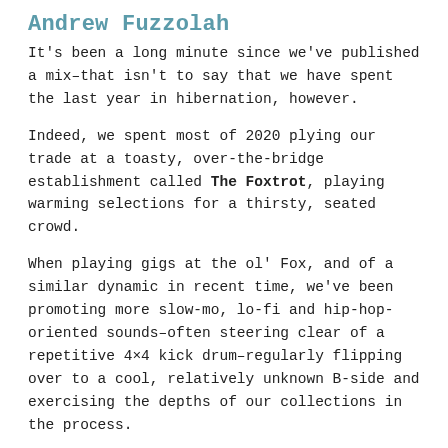Andrew Fuzzolah
It's been a long minute since we've published a mix–that isn't to say that we have spent the last year in hibernation, however.
Indeed, we spent most of 2020 plying our trade at a toasty, over-the-bridge establishment called The Foxtrot, playing warming selections for a thirsty, seated crowd.
When playing gigs at the ol' Fox, and of a similar dynamic in recent time, we've been promoting more slow-mo, lo-fi and hip-hop-oriented sounds–often steering clear of a repetitive 4×4 kick drum–regularly flipping over to a cool, relatively unknown B-side and exercising the depths of our collections in the process.
This is one example that we really quite enjoyed, recorded live, opening the night at The Foxtrot, and we thought it best to share here.
Within, you'll hear originals, remixes and releases from the likes of Eend (Sondrio), E. Live, Sable Blanc, Outkast, Waxtefacts, Ed Wizard &